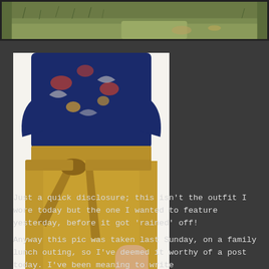[Figure (photo): Partial view of a grassy outdoor ground, top portion of a blog post photo]
[Figure (photo): Close-up photo of a person wearing a navy floral print blouse and a mustard yellow high-waist skirt with a tied belt/bow at the waist]
Just a quick disclosure; this isn't the outfit I wore today but the one I wanted to feature yesterday, before it got 'rained' off!
Anyway this pic was taken last Sunday, on a family lunch outing, so I've deemed it worthy of a post today. I've been meaning to write